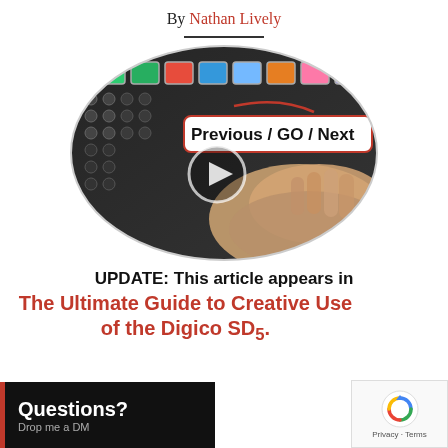By Nathan Lively
[Figure (photo): Oval-shaped photo of a mixing console/audio board with colored buttons and a hand touching controls, overlaid with a white label reading 'Previous / GO / Next' with a red border, and a play button circle in the center.]
UPDATE: This article appears in The Ultimate Guide to Creative Use of the Digico SD5.